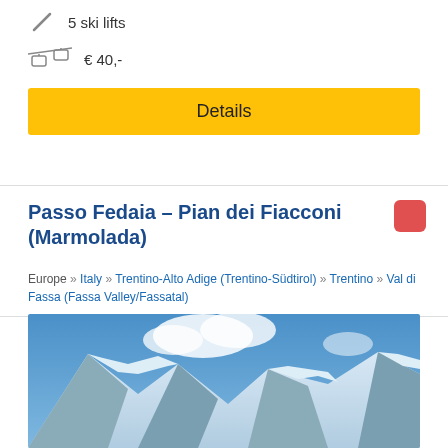5 ski lifts
€ 40,-
Details
Passo Fedaia – Pian dei Fiacconi (Marmolada)
Europe » Italy » Trentino-Alto Adige (Trentino-Südtirol) » Trentino » Val di Fassa (Fassa Valley/Fassatal)
[Figure (photo): Snow-covered mountain peaks with blue sky and clouds — Marmolada glacier area]